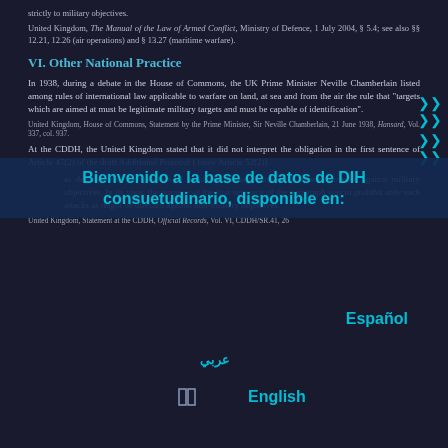strictly to military objectives.
United Kingdom, The Manual of the Law of Armed Conflict, Ministry of Defence, 1 July 2004, § 5.4; see also §§ 12.21, 12.26 (air operations) and § 13.27 (maritime warfare).
VI. Other National Practice
In 1938, during a debate in the House of Commons, the UK Prime Minister Neville Chamberlain listed among rules of international law applicable to warfare on land, at sea and from the air the rule that "targets which are aimed at must be legitimate military targets and must be capable of identification".
United Kingdom, House of Commons, Statement by the Prime Minister, Sir Neville Chamberlain, 21 June 1938, Hansard, Vol. 337, col. 937.
At the CDDH, the United Kingdom stated that it did not interpret the obligation in the first sentence of Article 47(2) of the draft Additional Protocol I (now Article 52(2))
as dealing with the question of incidental damage caused by attacks directed against military objectives. In its view, the purpose of the first sentence of the paragraph was to prohibit only such attacks as might be directed against non-military objectives.
United Kingdom, Statement at the CDDH, Official Records, Vol. VI, CDDH/SR.41, 26